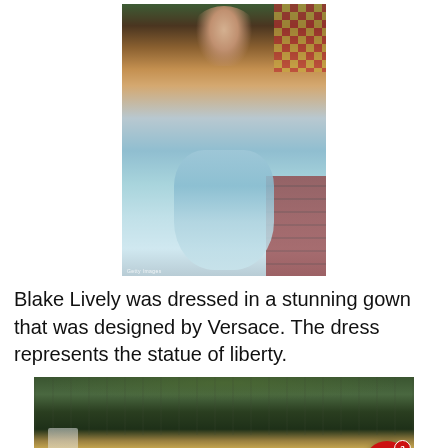[Figure (photo): Blake Lively in a stunning blue and gold Versace gown inspired by the Statue of Liberty, standing on red carpet stairs at the Met Gala]
Blake Lively was dressed in a stunning gown that was designed by Versace. The dress represents the statue of liberty.
[Figure (photo): Crowd scene at Met Gala red carpet with woman in blue gown visible from behind, surrounded by press photographers and hedges]